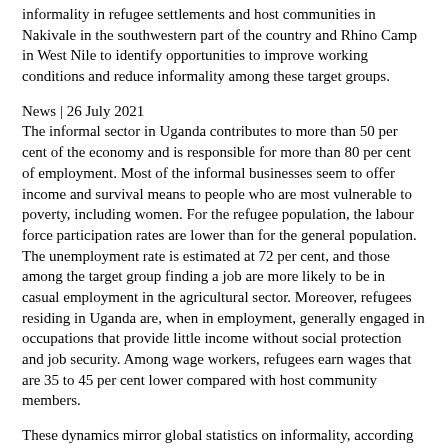informality in refugee settlements and host communities in Nakivale in the southwestern part of the country and Rhino Camp in West Nile to identify opportunities to improve working conditions and reduce informality among these target groups.
News | 26 July 2021
The informal sector in Uganda contributes to more than 50 per cent of the economy and is responsible for more than 80 per cent of employment. Most of the informal businesses seem to offer income and survival means to people who are most vulnerable to poverty, including women. For the refugee population, the labour force participation rates are lower than for the general population. The unemployment rate is estimated at 72 per cent, and those among the target group finding a job are more likely to be in casual employment in the agricultural sector. Moreover, refugees residing in Uganda are, when in employment, generally engaged in occupations that provide little income without social protection and job security. Among wage workers, refugees earn wages that are 35 to 45 per cent lower compared with host community members.
These dynamics mirror global statistics on informality, according to which six out of ten workers and eight out of ten economic units are considered informal. In many cases, the impact of the COVID-19 pandemic exacerbated consequences in terms of job and income losses in the informal economy, usually without adequate income